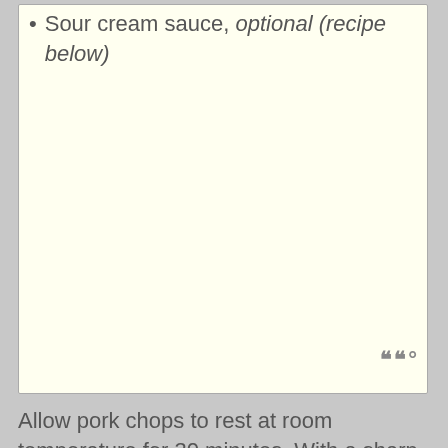Sour cream sauce, optional (recipe below)
Allow pork chops to rest at room temperature for 30 minutes. With a sharp paring knife, carefully cut a horizontal, 2-inch long pocket in the fat side of each chop, cutting almost to the bone, but not all the way. Season on both